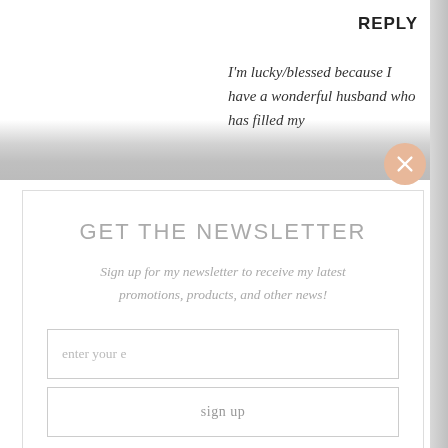REPLY
I'm lucky/blessed because I have a wonderful husband who has filled my
GET THE NEWSLETTER
Sign up for my newsletter to receive my latest promotions, products, and other news!
enter your e
sign up